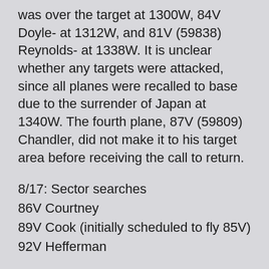was over the target at 1300W, 84V Doyle- at 1312W, and 81V (59838) Reynolds- at 1338W. It is unclear whether any targets were attacked, since all planes were recalled to base due to the surrender of Japan at 1340W. The fourth plane, 87V (59809) Chandler, did not make it to his target area before receiving the call to return.
8/17: Sector searches
86V Courtney
89V Cook (initially scheduled to fly 85V)
92V Hefferman
8/18: Sector searches (VPB-122)
61V Jennings